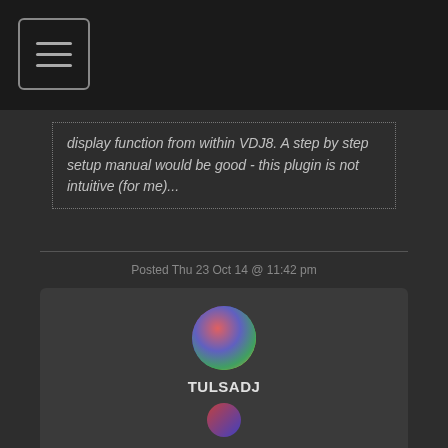[Figure (screenshot): Navigation/menu icon button with three horizontal lines inside a rounded rectangle, on dark background header bar]
display function from within VDJ8. A step by step setup manual would be good - this plugin is not intuitive (for me)...
Documents > Virtual DJ > Plugins > TellVisualsData
Open the file called "EssentialVisualsHelp.chm".
Posted Thu 23 Oct 14 @ 11:42 pm
[Figure (photo): Circular user avatar with colorful abstract/artistic design]
TULSADJ
[Figure (photo): Small circular user avatar with flag-like design at bottom of page]